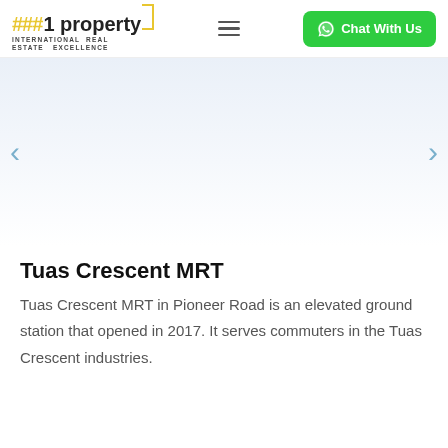###1 property — INTERNATIONAL REAL ESTATE EXCELLENCE — Chat With Us
[Figure (screenshot): Hero/slider image area with light blue-to-white gradient background]
Tuas Crescent MRT
Tuas Crescent MRT in Pioneer Road is an elevated ground station that opened in 2017. It serves commuters in the Tuas Crescent industries.